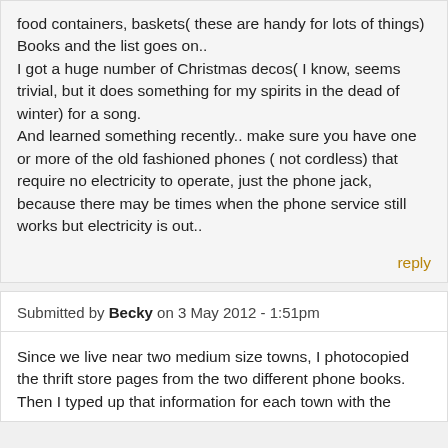food containers, baskets( these are handy for lots of things) Books and the list goes on..
I got a huge number of Christmas decos( I know, seems trivial, but it does something for my spirits in the dead of winter) for a song.
And learned something recently.. make sure you have one or more of the old fashioned phones ( not cordless) that require no electricity to operate, just the phone jack, because there may be times when the phone service still works but electricity is out..
reply
Submitted by Becky on 3 May 2012 - 1:51pm
Since we live near two medium size towns, I photocopied the thrift store pages from the two different phone books. Then I typed up that information for each town with the